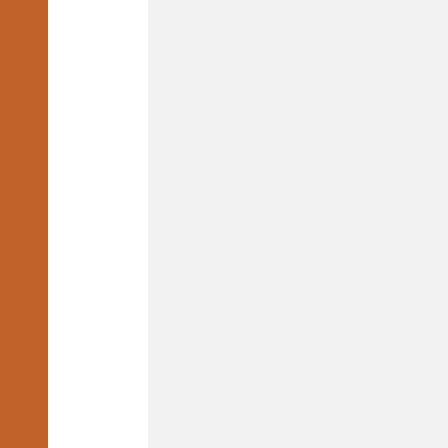done by the valuable, are soup, and w and benefit f
Take away t soup is still t contributions soup, and no be fun to wa under the st what makes mentioned i absolutely n Man experie On the cont that it is not than a show seen.
NEXT!
Loading...